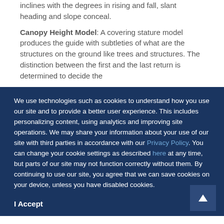inclines with the degrees in rising and fall, slant heading and slope conceal.
Canopy Height Model: A covering stature model produces the guide with subtleties of what are the structures on the ground like trees and structures. The distinction between the first and the last return is determined to decide the
We use technologies such as cookies to understand how you use our site and to provide a better user experience. This includes personalizing content, using analytics and improving site operations. We may share your information about your use of our site with third parties in accordance with our Privacy Policy. You can change your cookie settings as described here at any time, but parts of our site may not function correctly without them. By continuing to use our site, you agree that we can save cookies on your device, unless you have disabled cookies.
I Accept